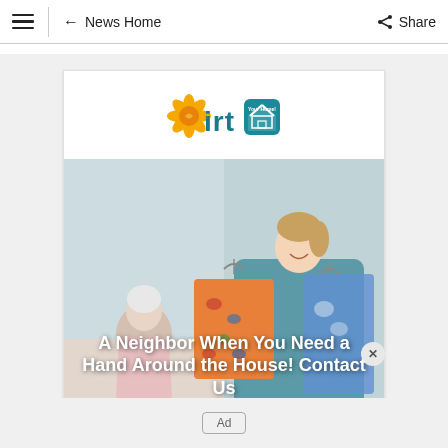≡  ← News Home   Share
[Figure (logo): IRT logo with sunflower/spiral icon and house icon]
[Figure (photo): A caregiver in blue scrubs holding floral-patterned clothing on hangers, smiling at an elderly woman seated in bed in a bright room]
A Neighbor When You Need a Hand Around the House! Contact Us
Ad